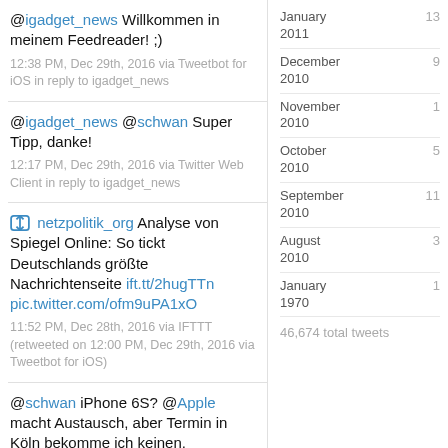@igadget_news Willkommen in meinem Feedreader! ;)
12:38 PM, Dec 29th, 2016 via Tweetbot for iOS in reply to igadget_news
@igadget_news @schwan Super Tipp, danke!
12:17 PM, Dec 29th, 2016 via Twitter Web Client in reply to igadget_news
netzpolitik_org Analyse von Spiegel Online: So tickt Deutschlands größte Nachrichtenseite ift.tt/2hugTTn pic.twitter.com/ofm9uPA1xO
11:52 PM, Dec 28th, 2016 via IFTTT (retweeted on 12:00 PM, Dec 29th, 2016 via Tweetbot for iOS)
@schwan iPhone 6S? @Apple macht Austausch, aber Termin in Köln bekomme ich keinen.
apple.com/de/support/iph…
11:54 AM, Dec 29th, 2016 via Tweetbot for
January 2011 13
December 2010 9
November 2010 1
October 2010 5
September 2010 11
August 2010 3
January 1970 1
46,674 total tweets